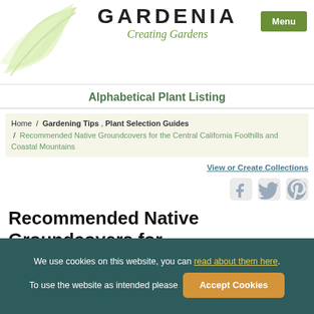GARDENIA Creating Gardens
Alphabetical Plant Listing
Home / Gardening Tips , Plant Selection Guides / Recommended Native Groundcovers for the Central California Foothills and Coastal Mountains
View or Create Collections
[Figure (infographic): Social media icons: Facebook, Twitter, Pinterest]
Recommended Native Groundcovers for the Central California Foothills and Coastal Mountains
We use cookies on this website, you can read about them here. To use the website as intended please Accept Cookies